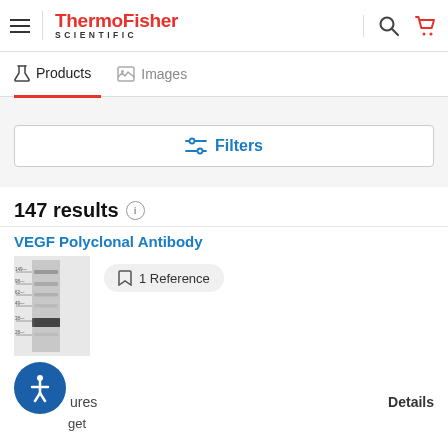ThermoFisher SCIENTIFIC
Products   Images
Filters
147 results
VEGF Polyclonal Antibody
[Figure (photo): Western blot gel image for VEGF Polyclonal Antibody]
1 Reference
ures
get
Details